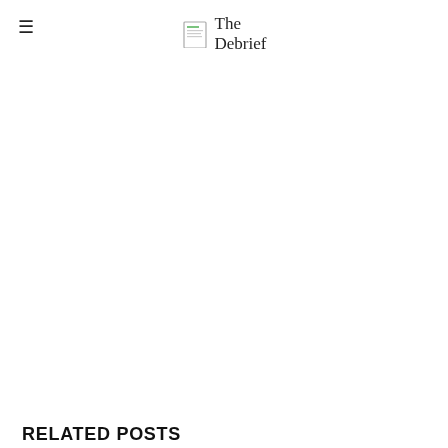The Debrief
RELATED POSTS
[Figure (photo): Rocket on launch pad with scaffolding structure - NASA Artemis program rocket]
NASA PREPARES FOR THE FIRST MOONSHOT OF ITS ARTEMIS PROGRAM
THE INTELLIGENCE BRIEF
[Figure (photo): Light blue/white background - partial image for Chinese scientists anti-stealth radar article]
CHINESE SCIENTISTS SAY THEY HAVE DEVELOPED A NEW COVERT "ANTI-STEALTH" RADAR